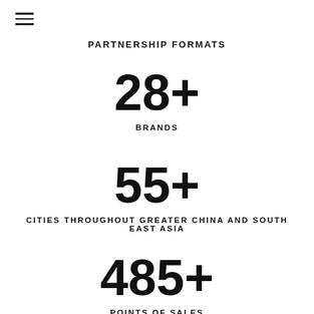PARTNERSHIP FORMATS
28+
BRANDS
55+
CITIES THROUGHOUT GREATER CHINA AND SOUTH EAST ASIA
485+
POINTS OF SALES